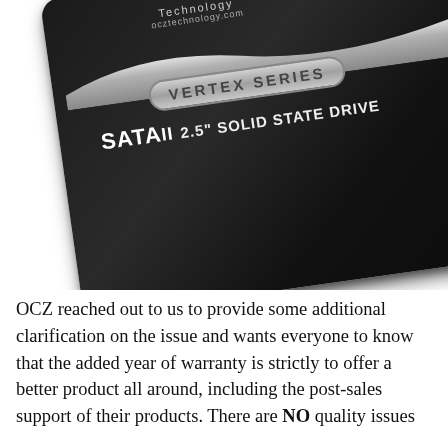[Figure (photo): Photo of an OCZ Vertex Series SATAII 2.5 inch Solid State Drive, black casing with silver/grey label, shown at an angle]
OCZ reached out to us to provide some additional clarification on the issue and wants everyone to know that the added year of warranty is strictly to offer a better product all around, including the post-sales support of their products. There are NO quality issues